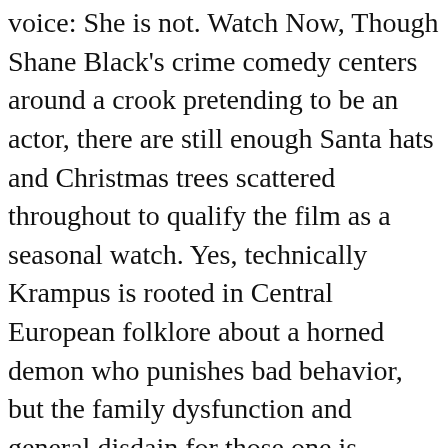voice: She is not. Watch Now, Though Shane Black's crime comedy centers around a crook pretending to be an actor, there are still enough Santa hats and Christmas trees scattered throughout to qualify the film as a seasonal watch. Yes, technically Krampus is rooted in Central European folklore about a horned demon who punishes bad behavior, but the family dysfunction and general disdain for those one is related to? Well, here's his Christmas movie. Will Ferrell is so funny in this fish-out-of-water tale, it's easy to forget this movie is PG! Test your knowledge with our Christmas movies quiz, from cuddly family fare to darker yuletide adventures... You may be able to find more information about this and similar content at piano.io, 36 Best Ugly Christmas Sweaters to Buy or DIY, 32 Christmas Sweaters You'll Actually Want to Wear, The Real Meaning Behind "12